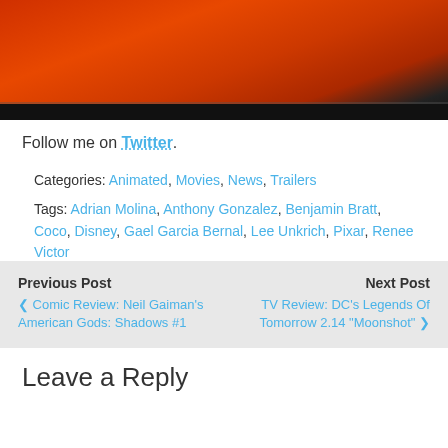[Figure (photo): Partial view of animated movie scene with warm red/orange tones, bottom portion showing dark band/black area]
Follow me on Twitter.
Categories: Animated, Movies, News, Trailers
Tags: Adrian Molina, Anthony Gonzalez, Benjamin Bratt, Coco, Disney, Gael Garcia Bernal, Lee Unkrich, Pixar, Renee Victor
Previous Post
< Comic Review: Neil Gaiman's American Gods: Shadows #1
Next Post
TV Review: DC's Legends Of Tomorrow 2.14 "Moonshot" >
Leave a Reply